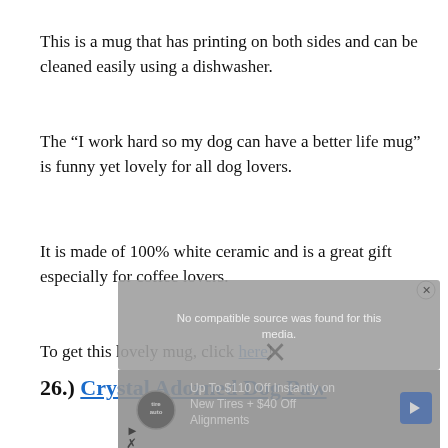This is a mug that has printing on both sides and can be cleaned easily using a dishwasher.
The “I work hard so my dog can have a better life mug” is funny yet lovely for all dog lovers.
It is made of 100% white ceramic and is a great gift especially for coffee lovers.
To get this lovely mug, click here!
26.) Crystal Adorned Dog Paw
[Figure (other): Partially obscured advertisement overlay showing 'No compatible source was found for this media.' with a tire service ad below, and a partial image of a dog.]